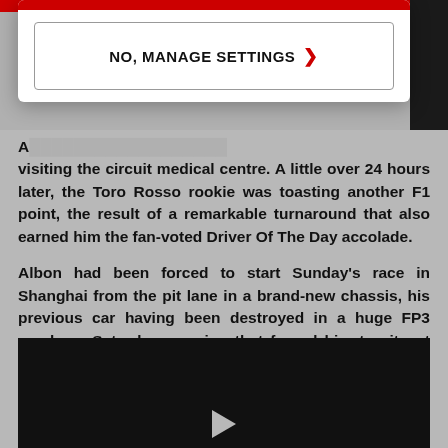[Figure (screenshot): Modal overlay with 'NO, MANAGE SETTINGS' button with red chevron arrow, displayed over a news article page with red top bar and dark right sidebar]
A... visiting the circuit medical centre. A little over 24 hours later, the Toro Rosso rookie was toasting another F1 point, the result of a remarkable turnaround that also earned him the fan-voted Driver Of The Day accolade.
Albon had been forced to start Sunday's race in Shanghai from the pit lane in a brand-new chassis, his previous car having been destroyed in a huge FP3 crash on Saturday morning that forced him to sit out qualifying completely.
[Figure (screenshot): Black video player placeholder at the bottom of the article page]